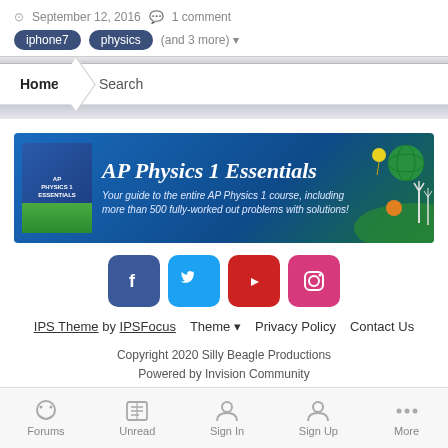September 12, 2016   1 comment
iphone7   physics   (and 3 more)
Home   Search
[Figure (illustration): AP Physics 1 Essentials advertisement banner with book cover, globe, wind turbines, and text: Your guide to the entire AP Physics 1 course, including more than 500 fully-worked out problems with solutions!]
[Figure (infographic): Social media icons: Facebook (dark blue), Twitter (light blue), YouTube (red), Instagram (pink)]
IPS Theme by IPSFocus   Theme   Privacy Policy   Contact Us
Copyright 2020 Silly Beagle Productions
Powered by Invision Community
Forums   Unread   Sign In   Sign Up   More